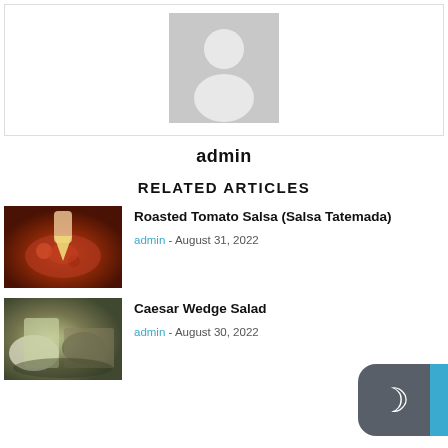[Figure (illustration): Gray avatar/profile placeholder image with person silhouette icon]
admin
RELATED ARTICLES
[Figure (photo): Photo of roasted tomato salsa in a bowl with a chip being dipped in]
Roasted Tomato Salsa (Salsa Tatemada)
admin - August 31, 2022
[Figure (photo): Photo of Caesar wedge salad ingredients]
Caesar Wedge Salad
admin - August 30, 2022